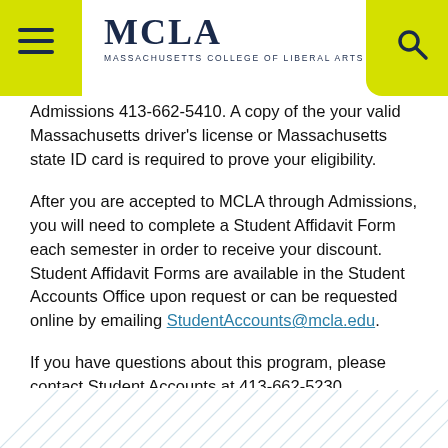MCLA — MASSACHUSETTS COLLEGE OF LIBERAL ARTS
Admissions 413-662-5410. A copy of the your valid Massachusetts driver's license or Massachusetts state ID card is required to prove your eligibility.
After you are accepted to MCLA through Admissions, you will need to complete a Student Affidavit Form each semester in order to receive your discount. Student Affidavit Forms are available in the Student Accounts Office upon request or can be requested online by emailing StudentAccounts@mcla.edu.
If you have questions about this program, please contact Student Accounts at 413-662-5230.